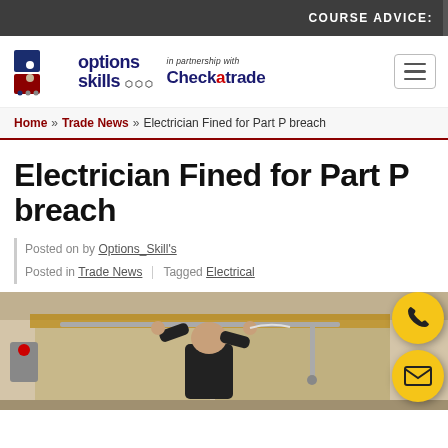COURSE ADVICE:
[Figure (logo): Options Skills logo with puzzle pieces and 'in partnership with Checkatrade' branding, plus hamburger menu icon]
Home » Trade News » Electrician Fined for Part P breach
Electrician Fined for Part P breach
Posted on by Options_Skill's
Posted in Trade News | Tagged Electrical
[Figure (photo): Electrician working with back to camera, handling pipes/conduit on a wall with wooden frame in background]